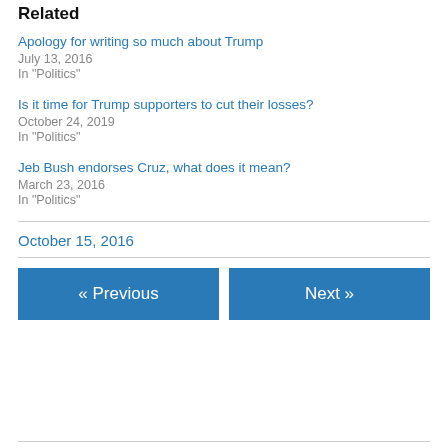Related
Apology for writing so much about Trump
July 13, 2016
In "Politics"
Is it time for Trump supporters to cut their losses?
October 24, 2019
In "Politics"
Jeb Bush endorses Cruz, what does it mean?
March 23, 2016
In "Politics"
October 15, 2016
« Previous
Next »